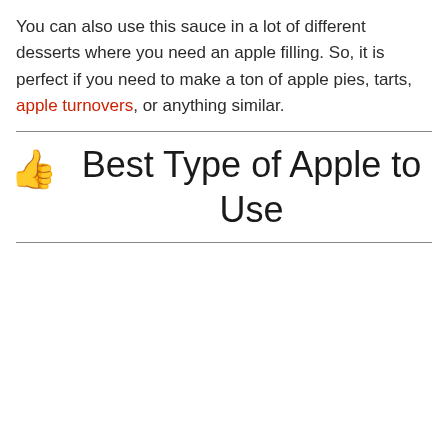You can also use this sauce in a lot of different desserts where you need an apple filling. So, it is perfect if you need to make a ton of apple pies, tarts, apple turnovers, or anything similar.
👍 Best Type of Apple to Use